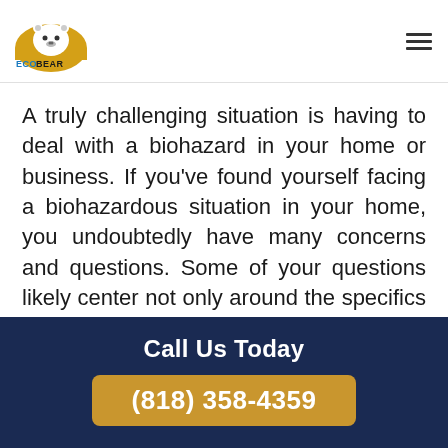ECOBEAR
A truly challenging situation is having to deal with a biohazard in your home or business. If you've found yourself facing a biohazardous situation in your home, you undoubtedly have many concerns and questions. Some of your questions likely center not only around the specifics of a biological hazard itself but how to hire a reputable biohazard cleaning company in
Call Us Today
(818) 358-4359